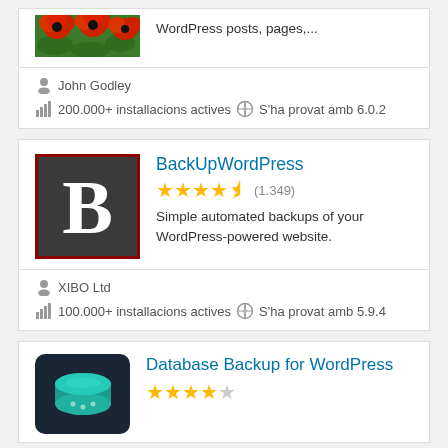[Figure (screenshot): Partial plugin card top showing a flower/poppy image on the left and truncated text 'WordPress posts, pages,...' on the right]
John Godley
200.000+ installacions actives   S'ha provat amb 6.0.2
[Figure (screenshot): BackUpWordPress plugin icon: dark grey square with red border and large white bold letter B]
BackUpWordPress
★★★★½ (1.349)
Simple automated backups of your WordPress-powered website.
XIBO Ltd
100.000+ installacions actives   S'ha provat amb 5.9.4
[Figure (screenshot): Database Backup for WordPress plugin icon: dark blue rounded square with teal database symbol]
Database Backup for WordPress